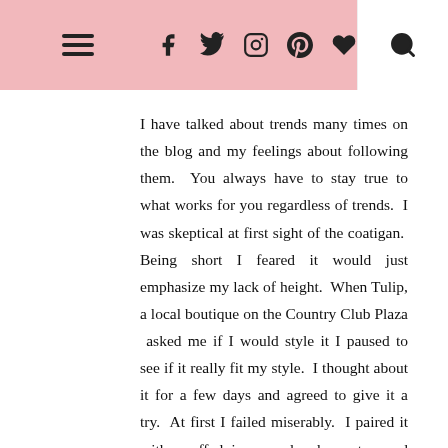Navigation and social icons header bar
I have talked about trends many times on the blog and my feelings about following them.  You always have to stay true to what works for you regardless of trends.  I was skeptical at first sight of the coatigan.  Being short I feared it would just emphasize my lack of height.  When Tulip, a local boutique on the Country Club Plaza  asked me if I would style it I paused to see if it really fit my style.  I thought about it for a few days and agreed to give it a try.  At first I failed miserably.  I paired it with  cuffed jeans and a loose top and booties but realized I had toooo many breaks in the outfit for the eye to follow.  It only made me look as wide as I am tall!  Not flattering.  It needed to stand out.  Be the focal point of my outfit.  Streamlining my look with minimal breaks I paired it with a graphic tee drawing on the burgundy stripe and continuing the eye to the